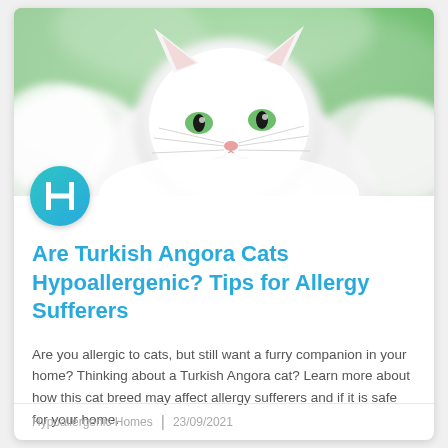[Figure (photo): A white fluffy Turkish Angora cat with green eyes photographed against a blurred green background]
[Figure (logo): Circular teal/cyan logo with the letter H in white, representing Hypoallergenic Homes]
Are Turkish Angora Cats Hypoallergenic? Tips for Allergy Sufferers
Are you allergic to cats, but still want a furry companion in your home? Thinking about a Turkish Angora cat? Learn more about how this cat breed may affect allergy sufferers and if it is safe for your home.
Hypoallergenic Homes  |  23/09/2021